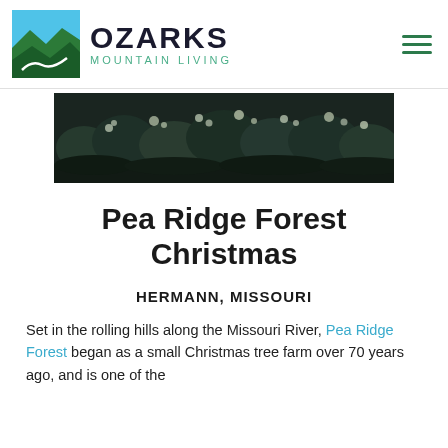[Figure (logo): Ozarks Mountain Living logo with mountain/landscape icon and text]
[Figure (photo): Aerial or landscape photo of a forested area, dark tones, black and white]
Pea Ridge Forest Christmas
HERMANN, MISSOURI
Set in the rolling hills along the Missouri River, Pea Ridge Forest began as a small Christmas tree farm over 70 years ago, and is one of the